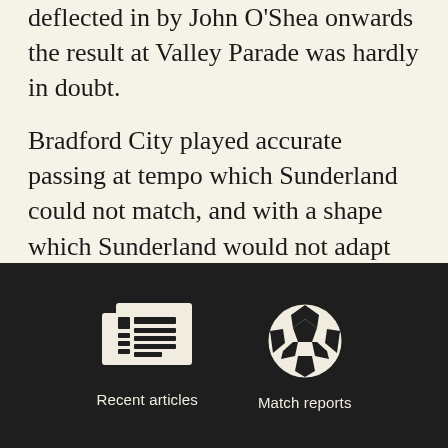deflected in by John O'Shea onwards the result at Valley Parade was hardly in doubt.
Bradford City played accurate passing at tempo which Sunderland could not match, and with a shape which Sunderland would not adapt to. Robbed of midfield quality in Jack Rodwell and power in Lee Cattermole Sunderland played Liam Bridcutt and Sebastian Larsson in the middle.
[Figure (illustration): Newspaper/article icon (white on dark background)]
Recent articles
[Figure (illustration): Football/soccer ball icon (white on dark background)]
Match reports